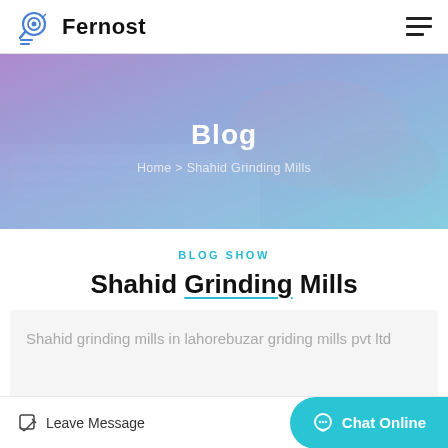Fernost
[Figure (illustration): Hero banner with blurred keyboard/hands background with purple-blue gradient overlay showing 'Blog' title and breadcrumb 'Home > Shahid Grinding Mills']
Blog
Home > Shahid Grinding Mills
BLOG SHOW
Shahid Grinding Mills
Shahid grinding mills in lahorebuzar griding mills pvt ltd
Leave Message  Chat Online